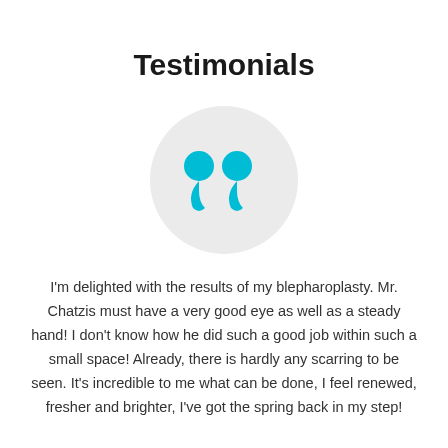Testimonials
[Figure (illustration): A light grey circle containing a cyan/turquoise double closing quotation mark icon]
I'm delighted with the results of my blepharoplasty. Mr. Chatzis must have a very good eye as well as a steady hand! I don't know how he did such a good job within such a small space! Already, there is hardly any scarring to be seen. It's incredible to me what can be done, I feel renewed, fresher and brighter, I've got the spring back in my step!